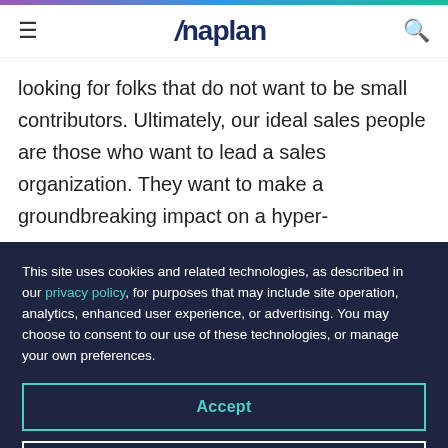Anaplan
looking for folks that do not want to be small contributors. Ultimately, our ideal sales people are those who want to lead a sales organization. They want to make a groundbreaking impact on a hyper-
This site uses cookies and related technologies, as described in our privacy policy, for purposes that may include site operation, analytics, enhanced user experience, or advertising. You may choose to consent to our use of these technologies, or manage your own preferences.
Accept
Decline
Manage settings